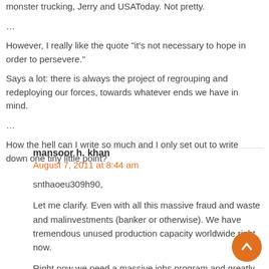monster trucking, Jerry and USAToday. Not pretty.
…
However, I really like the quote "it's not necessary to hope in order to persevere."
Says a lot: there is always the project of regrouping and redeploying our forces, towards whatever ends we have in mind.
…
How the hell can I write so much and I only set out to write down one tiny little point?
mansoor h. khan
August 7, 2011 at 8:44 am
snthaoeu309h90,
Let me clarify. Even with all this massive fraud and waste and malinvestments (banker or otherwise). We have tremendous unused production capacity worldwide right now.
Right now we need a massive jobs program and greatly expanded public assistance/unemployment insurance compensations/social security payouts to deal with the immediate social chaos. Then we can